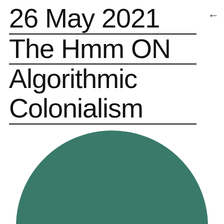26 May 2021
The Hmm ON
Algorithmic
Colonialism
[Figure (illustration): A large teal/dark green circle partially visible at the bottom of the page, with bold white text 'The Hmm' displayed in the lower portion of the circle.]